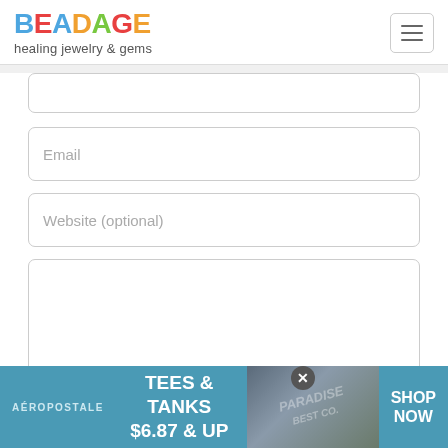[Figure (logo): Beadage logo with colorful letters and subtitle 'healing jewelry & gems']
[Figure (screenshot): Website form with Email field, Website (optional) field, large comment textarea, Add Comment button, and Aéropostale advertisement banner at bottom]
[Figure (screenshot): Aéropostale advertisement: TEES & TANKS $6.87 & UP, SHOP NOW]